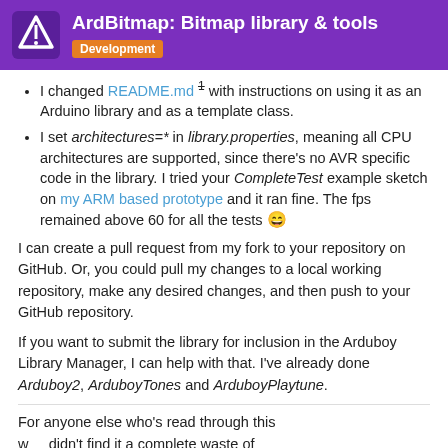ArdBitmap: Bitmap library & tools — Development
I changed README.md ¹ with instructions on using it as an Arduino library and as a template class.
I set architectures=* in library.properties, meaning all CPU architectures are supported, since there's no AVR specific code in the library. I tried your CompleteTest example sketch on my ARM based prototype and it ran fine. The fps remained above 60 for all the tests 😄
I can create a pull request from my fork to your repository on GitHub. Or, you could pull my changes to a local working repository, make any desired changes, and then push to your GitHub repository.
If you want to submit the library for inclusion in the Arduboy Library Manager, I can help with that. I've already done Arduboy2, ArduboyTones and ArduboyPlaytune.
For anyone else who's read through this w… didn't find it a complete waste of time 😞
6 / 21